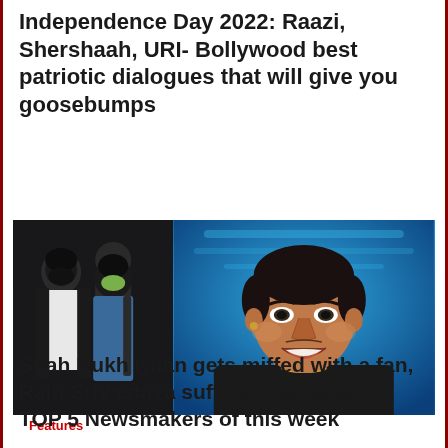Independence Day 2022: Raazi, Shershaah, URI- Bollywood best patriotic dialogues that will give you goosebumps
[Figure (photo): Two-panel composite image. Left panel: two people wearing masks at what appears to be an airport or public space, dark clothing. Right panel: close-up of a smiling man against a blue background.]
Features
Shah Rukh Khan gets miffed with a fan, Raju Srivastava suffers heart attack- TOP 5 Newsmakers of this week